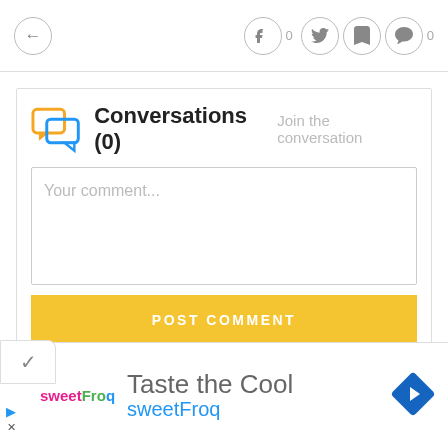← f 0 🐦 🔖 💬 0
Conversations (0)   Join the conversation
Your comment...
POST COMMENT
[Figure (screenshot): SweetFrog advertisement with logo, 'Taste the Cool' text, 'sweetFroq' subtitle, and blue diamond arrow icon]